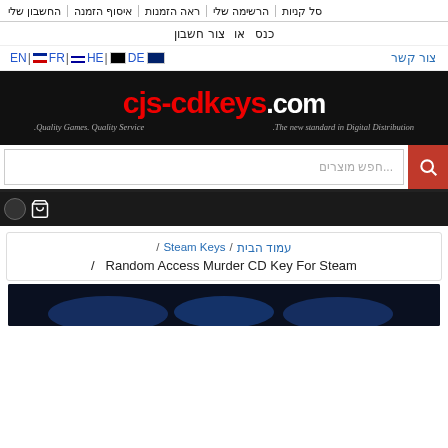החשבון שלי | איסוף הזמנה | ראה הזמנות | הרשימה שלי | סל קניות
כנס  או צור חשבון
EN | FR | HE | DE | צור קשר
[Figure (logo): CJS-CDKEYS.COM logo in red and white on black background with taglines: 'The new standard in Digital Distribution.' and 'Quality Games. Quality Service.']
חפש מוצרים...
עמוד הבית / Steam Keys / Random Access Murder CD Key For Steam /
[Figure (photo): Product image showing dark blue gaming visual at the bottom of the page]